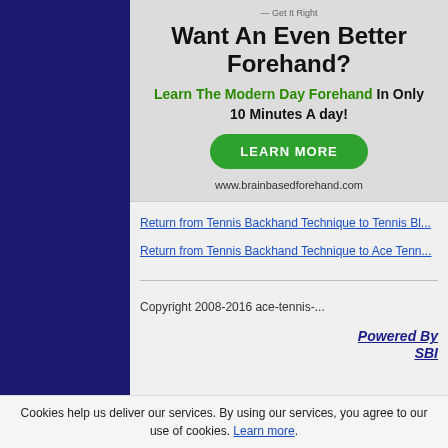[Figure (illustration): Advertisement banner for brainbasedforehand.com with tagline 'Get It Right', heading 'Want An Even Better Forehand?', subtitle 'Learn The Modern Day Forehand In Only 10 Minutes A day!', a green LEARN MORE button, and URL www.brainbasedforehand.com]
Return from Tennis Backhand Technique to Tennis Bl...
Return from Tennis Backhand Technique to Ace Tenn...
Copyright 2008-2016 ace-tennis-...
Powered By SBI
Cookies help us deliver our services. By using our services, you agree to our use of cookies. Learn more.